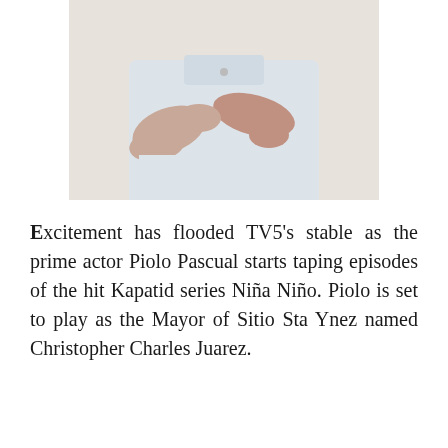[Figure (photo): Photo of a person in a white short-sleeve button-up shirt with arms crossed, shown from the chest down, against a light beige/white background.]
Excitement has flooded TV5's stable as the prime actor Piolo Pascual starts taping episodes of the hit Kapatid series Niña Niño. Piolo is set to play as the Mayor of Sitio Sta Ynez named Christopher Charles Juarez.